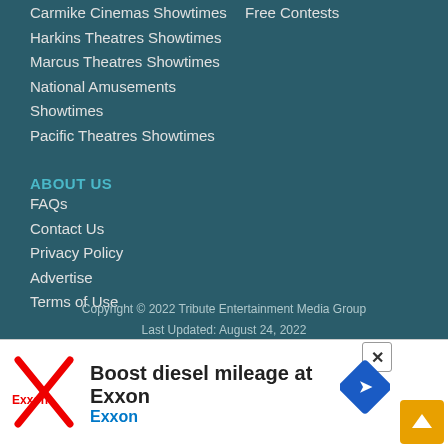Carmike Cinemas Showtimes
Harkins Theatres Showtimes
Marcus Theatres Showtimes
National Amusements Showtimes
Pacific Theatres Showtimes
Free Contests
ABOUT US
FAQs
Contact Us
Privacy Policy
Advertise
Terms of Use
Copyright © 2022 Tribute Entertainment Media Group
Last Updated: August 24, 2022
[Figure (infographic): Advertisement banner: Exxon logo on left, text 'Boost diesel mileage at Exxon' and 'Exxon' in blue, with a blue diamond direction sign icon on right. A close (X) button in top right and a yellow scroll-up button at bottom right.]